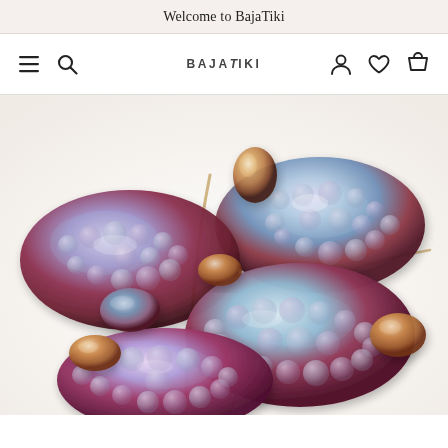Welcome to BajaTiki
[Figure (photo): Close-up photograph of multiple handmade lampwork glass beads. The beads feature iridescent surfaces with raised dot patterns (like bubble or honeycomb textures) in deep red, amber, blue, and multicolor tones. Some beads are flat disc-shaped with bumpy surfaces, others are smaller round spacer beads. Beige cording threads through the beads. Background is white.]